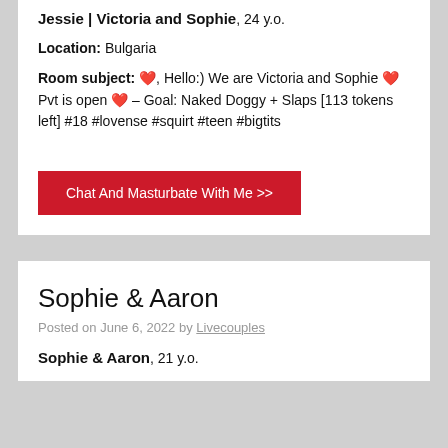Jessie | Victoria and Sophie, 24 y.o.
Location: Bulgaria
Room subject: ❤️, Hello:) We are Victoria and Sophie ❤️ Pvt is open ❤️ – Goal: Naked Doggy + Slaps [113 tokens left] #18 #lovense #squirt #teen #bigtits
Chat And Masturbate With Me >>
Sophie & Aaron
Posted on June 6, 2022 by Livecouples
Sophie & Aaron, 21 y.o.